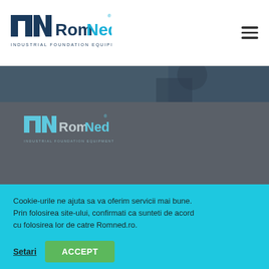[Figure (logo): RomNed Industrial Foundation Equipment logo in header, dark blue and cyan colors]
[Figure (photo): Dark blue/gray toned image band showing workers or industrial scene]
[Figure (logo): RomNed Industrial Foundation Equipment logo displayed on dark gray background]
Cu mai bine de 21 ani de activitate pe piata distributiei de
Cookie-urile ne ajuta sa va oferim servicii mai bune. Prin folosirea site-ului, confirmati ca sunteti de acord cu folosirea lor de catre Romned.ro.
Setari
ACCEPT